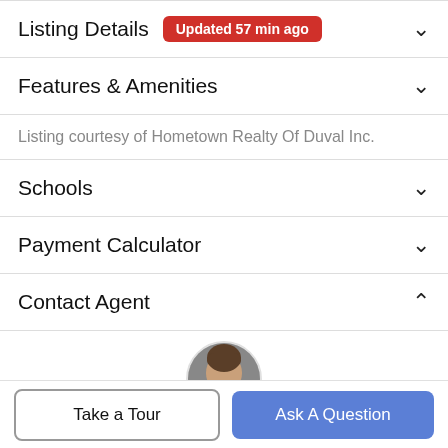Listing Details  Updated 57 min ago
Features & Amenities
Listing courtesy of Hometown Realty Of Duval Inc.
Schools
Payment Calculator
Contact Agent
[Figure (photo): Circular avatar photo of a real estate agent (Kevin Rearney)]
Take a Tour
Ask A Question